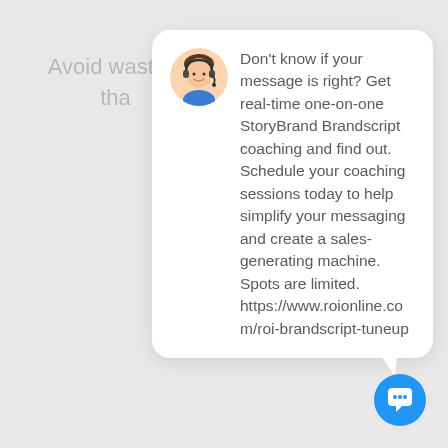Avoid wasting tha
[Figure (illustration): Chat bubble with avatar of customer service agent (cartoon man with headset) and message text about StoryBrand Brandscript coaching]
Don't know if your message is right? Get real-time one-on-one StoryBrand Brandscript coaching and find out. Schedule your coaching sessions today to help simplify your messaging and create a sales-generating machine. Spots are limited. https://www.roionline.com/roi-brandscript-tuneup
[Figure (illustration): Blue circular chat/message button icon in bottom right corner]